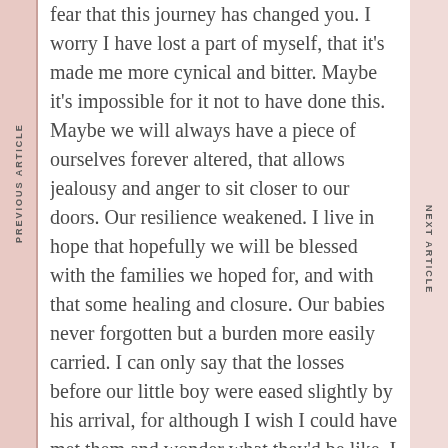fear that this journey has changed you. I worry I have lost a part of myself, that it's made me more cynical and bitter. Maybe it's impossible for it not to have done this. Maybe we will always have a piece of ourselves forever altered, that allows jealousy and anger to sit closer to our doors. Our resilience weakened. I live in hope that hopefully we will be blessed with the families we hoped for, and with that some healing and closure. Our babies never forgotten but a burden more easily carried. I can only say that the losses before our little boy were eased slightly by his arrival, for although I wish I could have met them and wonder what they'd be like. I hope that they opened the window to the gift of giving him to us. The losses following his arrival feel more acute and leave me fearful we will never have another. But I wonder if this is because our hopes and